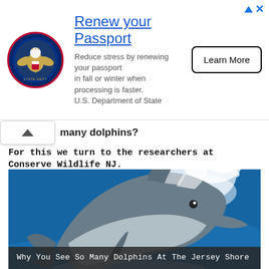[Figure (other): U.S. Department of State advertisement banner: Renew your Passport. Logo of U.S. State Department on left, ad text in center, Learn More button on right.]
many dolphins?
For this we turn to the researchers at Conserve Wildlife NJ.
[Figure (photo): A bottlenose dolphin leaping through ocean waves with spray, blue water background. Caption reads: Why You See So Many Dolphins At The Jersey Shore]
Why You See So Many Dolphins At The Jersey Shore